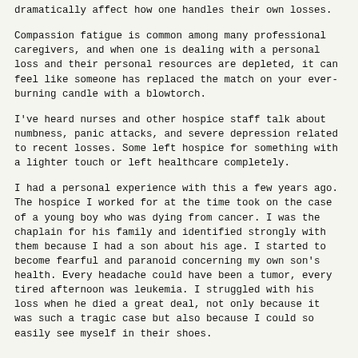dramatically affect how one handles their own losses.
Compassion fatigue is common among many professional caregivers, and when one is dealing with a personal loss and their personal resources are depleted, it can feel like someone has replaced the match on your ever-burning candle with a blowtorch.
I've heard nurses and other hospice staff talk about numbness, panic attacks, and severe depression related to recent losses. Some left hospice for something with a lighter touch or left healthcare completely.
I had a personal experience with this a few years ago. The hospice I worked for at the time took on the case of a young boy who was dying from cancer. I was the chaplain for his family and identified strongly with them because I had a son about his age. I started to become fearful and paranoid concerning my own son's health. Every headache could have been a tumor, every tired afternoon was leukemia. I struggled with his loss when he died a great deal, not only because it was such a tragic case but also because I could so easily see myself in their shoes.